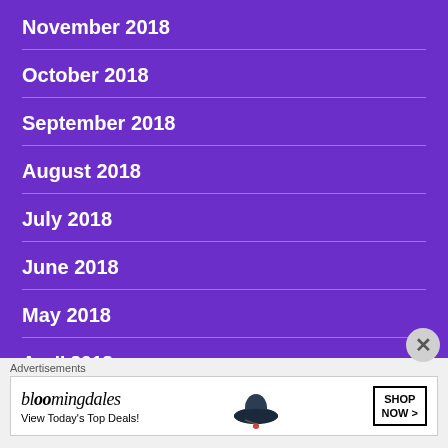November 2018
October 2018
September 2018
August 2018
July 2018
June 2018
May 2018
April 2018
Advertisements
[Figure (other): Bloomingdale's advertisement banner: 'View Today's Top Deals!' with SHOP NOW > button and woman in hat image]